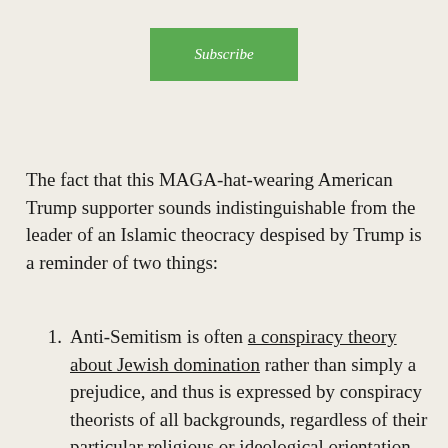[Figure (other): Green Subscribe button]
The fact that this MAGA-hat-wearing American Trump supporter sounds indistinguishable from the leader of an Islamic theocracy despised by Trump is a reminder of two things:
Anti-Semitism is often a conspiracy theory about Jewish domination rather than simply a prejudice, and thus is expressed by conspiracy theorists of all backgrounds, regardless of their particular religious or ideological orientation.